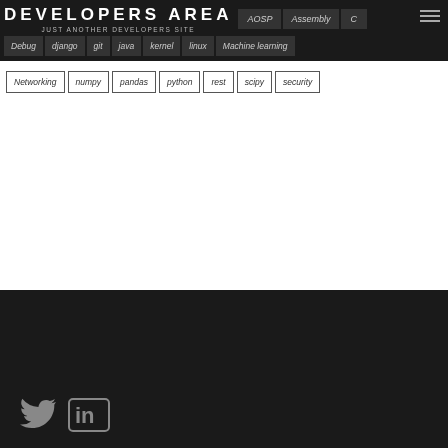DEVELOPERS AREA - JUST ANOTHER DEVELOPERS SITE
AOSP
Assembly
C
Debug
django
git
java
kernel
linux
Machine Learning
Networking
numpy
pandas
python
rest
scipy
security
Twitter and LinkedIn social icons